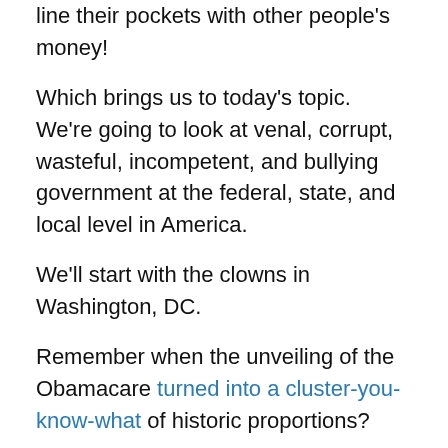line their pockets with other people's money!
Which brings us to today's topic. We're going to look at venal, corrupt, wasteful, incompetent, and bullying government at the federal, state, and local level in America.
We'll start with the clowns in Washington, DC.
Remember when the unveiling of the Obamacare turned into a cluster-you-know-what of historic proportions?
Well, the Daily Caller reports that the IRS has just signed an Obamacare-related contract with an insider company that recently became famous for completely botching its previous Obamacare-related contract.
Seven months after federal officials fired CGI Federal for its botched work on Obamacare website Healthcare.gov